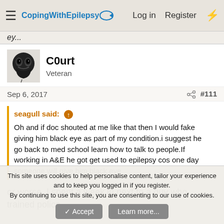CopingWithEpilepsy — Log in  Register
ey...
C0urt
Veteran
Sep 6, 2017   #111
seagull said: ↑
Oh and if doc shouted at me like that then I would fake giving him black eye as part of my condition.i suggest he go back to med school learn how to talk to people.If working in A&E he got get used to epilepsy cos one day someone will give him black eye
or worse, I spent a week in next to a guy who trained police
This site uses cookies to help personalise content, tailor your experience and to keep you logged in if you register.
By continuing to use this site, you are consenting to our use of cookies.